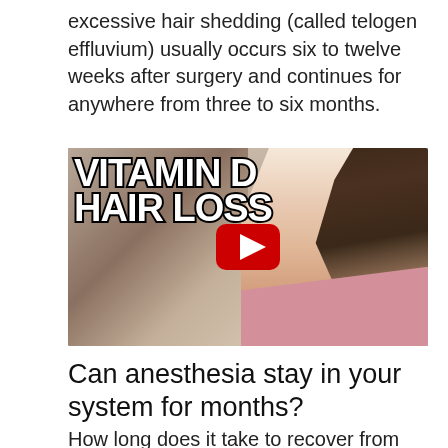excessive hair shedding (called telogen effluvium) usually occurs six to twelve weeks after surgery and continues for anywhere from three to six months.
[Figure (screenshot): YouTube video thumbnail showing bold white text 'VITAMIN D HAIR LOSS' with black outline on a blurred indoor background, with a young woman with long brown hair pointing, wearing a pink shirt. A red YouTube play button is centered on the image.]
Can anesthesia stay in your system for months?
How long does it take to recover from